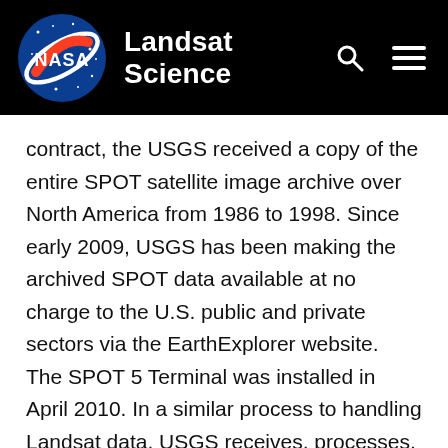NASA Landsat Science
contract, the USGS received a copy of the entire SPOT satellite image archive over North America from 1986 to 1998. Since early 2009, USGS has been making the archived SPOT data available at no charge to the U.S. public and private sectors via the EarthExplorer website.
The SPOT 5 Terminal was installed in April 2010. In a similar process to handling Landsat data, USGS receives, processes, and web-enables the SPOT data and distributes it to qualifying federal, state and local agencies. Prior to installation of the